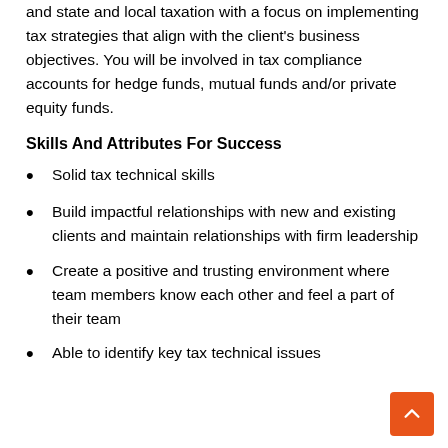and state and local taxation with a focus on implementing tax strategies that align with the client's business objectives. You will be involved in tax compliance accounts for hedge funds, mutual funds and/or private equity funds.
Skills And Attributes For Success
Solid tax technical skills
Build impactful relationships with new and existing clients and maintain relationships with firm leadership
Create a positive and trusting environment where team members know each other and feel a part of their team
Able to identify key tax technical issues